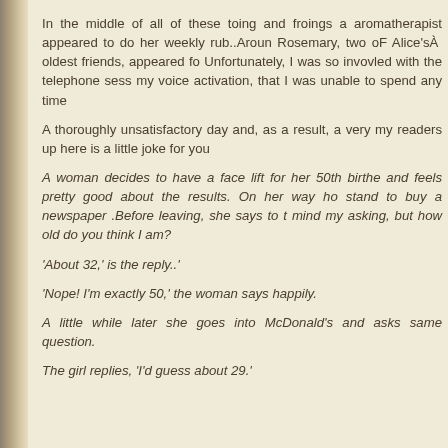In the middle of all of these toing and froings a aromatherapist appeared to do her weekly rub..Around Rosemary, two oF Alice's  oldest friends, appeared fo Unfortunately, I was so invovled with the telephone sess my voice activation, that I was unable to spend any time
A thoroughly unsatisfactory day and, as a result, a very my readers up here is a little joke for you
A woman decides to have a face lift for her 50th birthe and feels pretty good about the results. On her way ho stand to buy a newspaper .Before leaving, she says to t mind my asking, but how old do you think I am?
'About 32,' is the reply..'
'Nope! I'm exactly 50,' the woman says happily.
A little while later she goes into McDonald's and asks same question.
The girl replies, 'I'd guess about 29.'